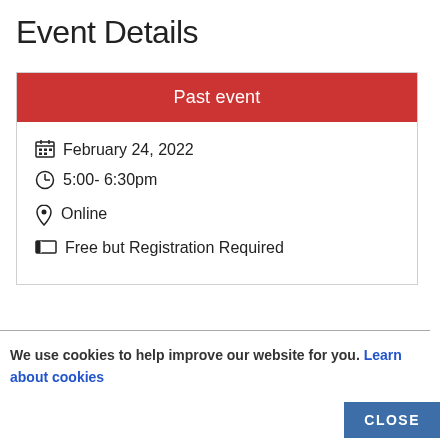Event Details
Past event
February 24, 2022
5:00- 6:30pm
Online
Free but Registration Required
We use cookies to help improve our website for you. Learn about cookies
CLOSE